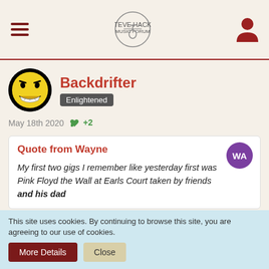Navigation header with hamburger menu, site logo, and user icon
Backdrifter
Enlightened
May 18th 2020 +2
Quote from Wayne
My first two gigs I remember like yesterday first was Pink Floyd the Wall at Earls Court taken by friends and his dad
You've reminded me of something that amused me. In 1997 I queued at Wembley Arena for Radiohead tickets on the OK Computer tour. I
This site uses cookies. By continuing to browse this site, you are agreeing to our use of cookies.